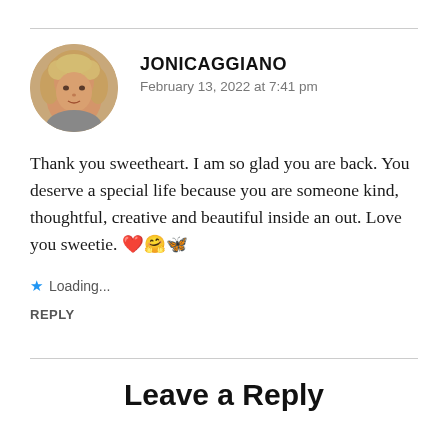[Figure (photo): Circular avatar photo of a blonde woman]
JONICAGGIANO
February 13, 2022 at 7:41 pm
Thank you sweetheart. I am so glad you are back. You deserve a special life because you are someone kind, thoughtful, creative and beautiful inside an out. Love you sweetie. ❤️🤗🦋
★ Loading...
REPLY
Leave a Reply